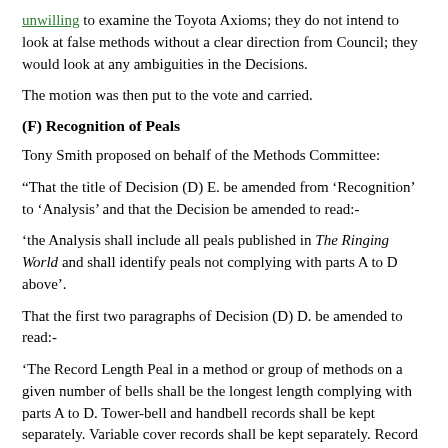unwilling to examine the Toyota Axioms; they do not intend to look at false methods without a clear direction from Council; they would look at any ambiguities in the Decisions.
The motion was then put to the vote and carried.
(F) Recognition of Peals
Tony Smith proposed on behalf of the Methods Committee:
“That the title of Decision (D) E. be amended from ‘Recognition’ to ‘Analysis’ and that the Decision be amended to read:-
‘the Analysis shall include all peals published in The Ringing World and shall identify peals not complying with parts A to D above’.
That the first two paragraphs of Decision (D) D. be amended to read:-
‘The Record Length Peal in a method or group of methods on a given number of bells shall be the longest length complying with parts A to D. Tower-bell and handbell records shall be kept separately. Variable cover records shall be kept separately. Record Length Peals of 10,000 or more changes must comply with the additional conditions below in respect of every one or all of the...